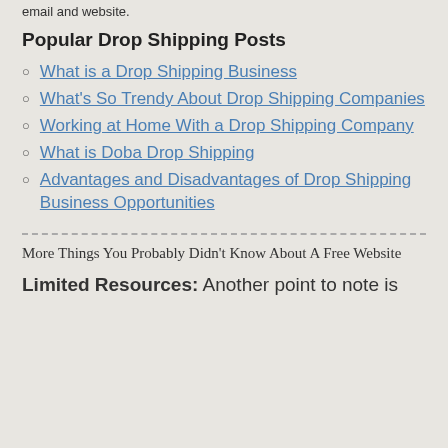email and website.
Popular Drop Shipping Posts
What is a Drop Shipping Business
What's So Trendy About Drop Shipping Companies
Working at Home With a Drop Shipping Company
What is Doba Drop Shipping
Advantages and Disadvantages of Drop Shipping Business Opportunities
More Things You Probably Didn't Know About A Free Website
Limited Resources: Another point to note is